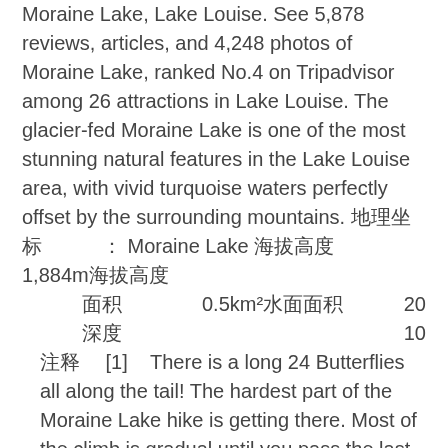Moraine Lake, Lake Louise. See 5,878 reviews, articles, and 4,248 photos of Moraine Lake, ranked No.4 on Tripadvisor among 26 attractions in Lake Louise. The glacier-fed Moraine Lake is one of the most stunning natural features in the Lake Louise area, with vivid turquoise waters perfectly offset by the surrounding mountains. [CJK characters] : Moraine Lake [CJK characters] 1,884m[CJK] [CJK] 0.5km²[CJK] 20 [CJK] 10 [CJK] [1] There is a long 24 Butterflies all along the tail! The hardest part of the Moraine Lake hike is getting there. Most of the climb is gradual until you pass the last meadow and then it becomes a set of steep switchbacks. We love this Moraine Lake hike, as it is a great route for families and those who aren't experienced hikers. Dogs are also able to use this trail but must be kept on leash. Larch Valley Trail